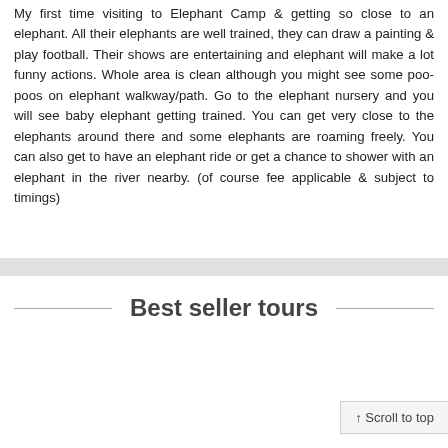My first time visiting to Elephant Camp & getting so close to an elephant. All their elephants are well trained, they can draw a painting & play football. Their shows are entertaining and elephant will make a lot funny actions. Whole area is clean although you might see some poo-poos on elephant walkway/path. Go to the elephant nursery and you will see baby elephant getting trained. You can get very close to the elephants around there and some elephants are roaming freely. You can also get to have an elephant ride or get a chance to shower with an elephant in the river nearby. (of course fee applicable & subject to timings)
Best seller tours